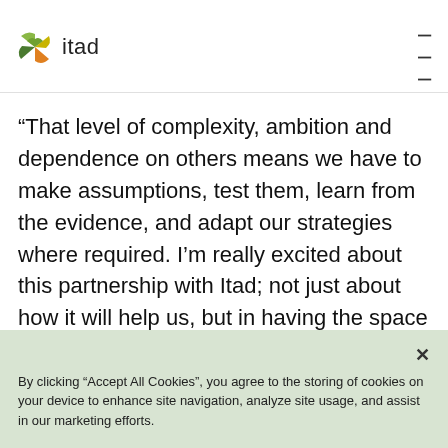itad
“That level of complexity, ambition and dependence on others means we have to make assumptions, test them, learn from the evidence, and adapt our strategies where required. I’m really excited about this partnership with Itad; not just about how it will help us, but in having the space to be
By clicking “Accept All Cookies”, you agree to the storing of cookies on your device to enhance site navigation, analyze site usage, and assist in our marketing efforts.